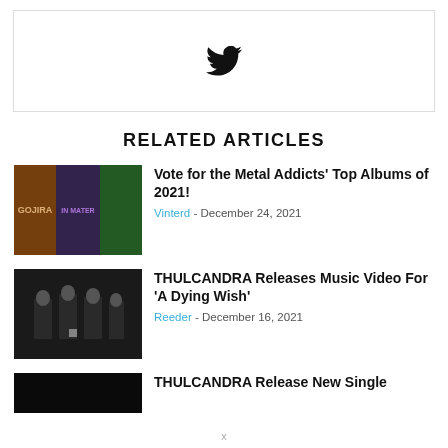[Figure (other): Twitter bird icon inside a bordered box]
RELATED ARTICLES
[Figure (photo): Album covers collage for Metal Addicts Top Albums of 2021]
Vote for the Metal Addicts' Top Albums of 2021!
Vinterd - December 24, 2021
[Figure (photo): Photo of Thulcandra band members standing in a dark room]
THULCANDRA Releases Music Video For 'A Dying Wish'
Reeder - December 16, 2021
[Figure (photo): Dark partially visible thumbnail for third article]
THULCANDRA Release New Single